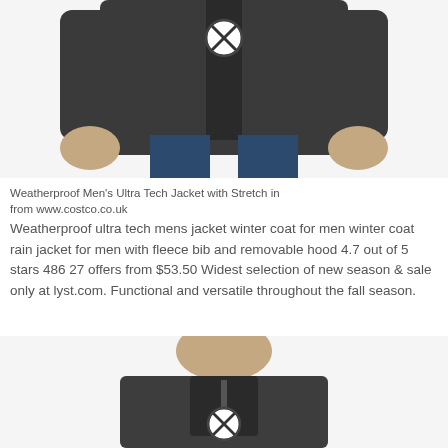[Figure (photo): Man wearing a dark grey weatherproof jacket, shown from chest down, with a circular X/close button overlay on the jacket chest area]
Weatherproof Men's Ultra Tech Jacket with Stretch in from www.costco.co.uk
Weatherproof ultra tech mens jacket winter coat for men winter coat rain jacket for men with fleece bib and removable hood 4.7 out of 5 stars 486 27 offers from $53.50 Widest selection of new season & sale only at lyst.com. Functional and versatile throughout the fall season.
[Figure (photo): Man wearing a dark grey zip-up jacket, shown from neck/chin area down, with a circular X/close button overlay on the jacket chest area]